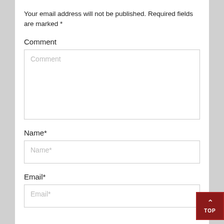Your email address will not be published. Required fields are marked *
Comment
[Figure (screenshot): Comment textarea input field with placeholder text 'Comment']
Name*
[Figure (screenshot): Name text input field with placeholder text 'Name*']
Email*
[Figure (screenshot): Email text input field with placeholder text 'Email*', partially visible at bottom]
[Figure (other): Dark red 'TOP' scroll-to-top button with upward chevron arrow in bottom right corner]